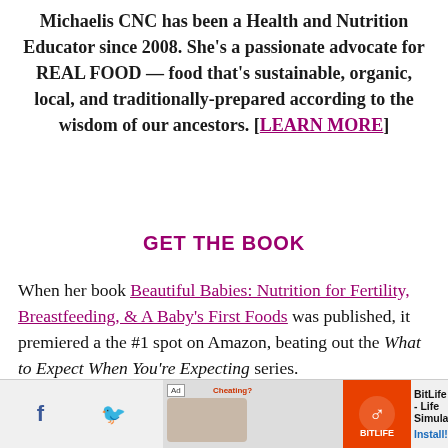Michaelis CNC has been a Health and Nutrition Educator since 2008. She's a passionate advocate for REAL FOOD — food that's sustainable, organic, local, and traditionally-prepared according to the wisdom of our ancestors. [LEARN MORE]
GET THE BOOK
When her book Beautiful Babies: Nutrition for Fertility, Breastfeeding, & A Baby's First Foods was published, it premiered a the #1 spot on Amazon, beating out the What to Expect When You're Expecting series.
[Figure (photo): Photo of a woman laughing, partially visible at bottom of page]
[Figure (screenshot): Ad banner at bottom: BitLife Life Simulator advertisement with orange icon and install button]